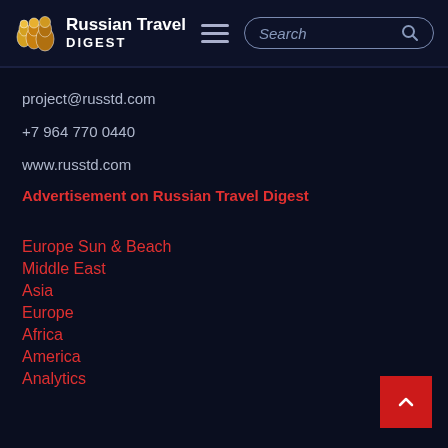Russian Travel DIGEST
project@russtd.com
+7 964 770 0440
www.russtd.com
Advertisement on Russian Travel Digest
Europe Sun & Beach
Middle East
Asia
Europe
Africa
America
Analytics